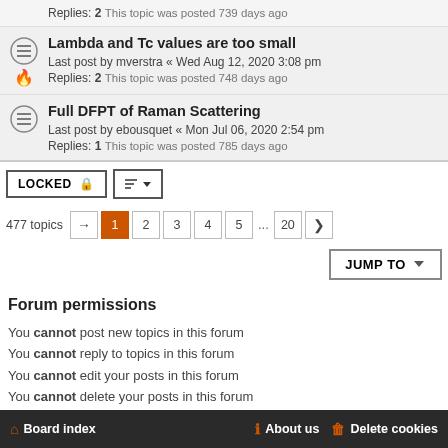Lambda and Tc values are too small
Last post by mverstra « Wed Aug 12, 2020 3:08 pm
Replies: 2 This topic was posted 748 days ago
Full DFPT of Raman Scattering
Last post by ebousquet « Mon Jul 06, 2020 2:54 pm
Replies: 1 This topic was posted 785 days ago
477 topics  1 2 3 4 5 ... 20 >
JUMP TO
Forum permissions
You cannot post new topics in this forum
You cannot reply to topics in this forum
You cannot edit your posts in this forum
You cannot delete your posts in this forum
You cannot post attachments in this forum
Board index   About us   Delete cookies